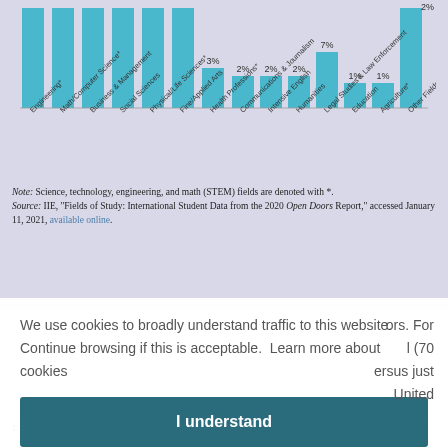[Figure (bar-chart): Fields of Study (partial view)]
Note: Science, technology, engineering, and math (STEM) fields are denoted with *.
Source: IIE, "Fields of Study: International Student Data from the 2020 Open Doors Report," accessed January 11, 2021, available online.
We use cookies to broadly understand traffic to this website. Continue browsing if this is acceptable.  Learn more about cookies
ors. For l (70 ersus just United
From S1s 1979-80 to 2019-20, international enrollment has steadily risen for